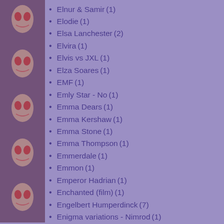Elnur & Samir (1)
Elodie (1)
Elsa Lanchester (2)
Elvira (1)
Elvis vs JXL (1)
Elza Soares (1)
EMF (1)
Emly Star - No (1)
Emma Dears (1)
Emma Kershaw (1)
Emma Stone (1)
Emma Thompson (1)
Emmerdale (1)
Emmon (1)
Emperor Hadrian (1)
Enchanted (film) (1)
Engelbert Humperdinck (7)
Enigma variations - Nimrod (1)
Ennio Morricone (1)
Enough is Enough (4)
Enrique Guzman (2)
equinox (9)